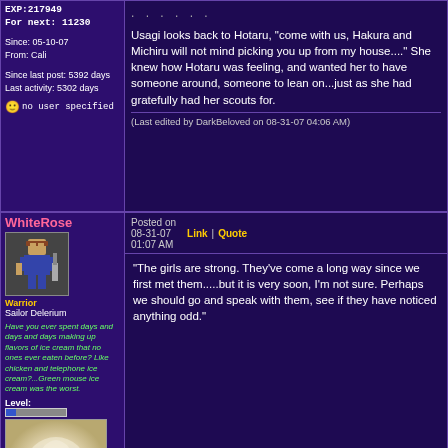EXP:217949
For next: 11230
Since: 05-10-07
From: Cali
Since last post: 5392 days
Last activity: 5302 days
no user specified
. . . . . .
Usagi looks back to Hotaru, "come with us, Hakura and Michiru will not mind picking you up from my house...." She knew how Hotaru was feeling, and wanted her to have someone around, someone to lean on...just as she had gratefully had her scouts for.
(Last edited by DarkBeloved on 08-31-07 04:06 AM)
WhiteRose
[Figure (illustration): Pixel art avatar of a warrior character]
Warrior
Sailor Delerium
Have you ever spent days and days and days making up flavors of ice cream that no ones ever eaten before? Like chicken and telephone ice cream?...Green mouse ice cream was the worst.
Level:
[Figure (photo): Close-up photo of a white rose]
Posts:1353/1461
EXP:4533485
Posted on
08-31-07    Link | Quote
01:07 AM
"The girls are strong. They've come a long way since we first met them.....but it is very soon, I'm not sure. Perhaps we should go and speak with them, see if they have noticed anything odd."